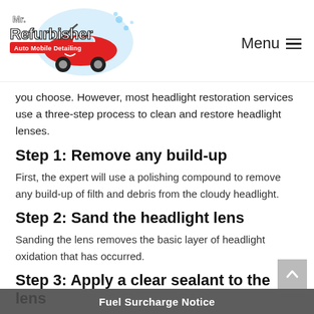[Figure (logo): Mr. Refurbisher Auto Mobile Detailing logo with cartoon red car and water splash]
Menu
you choose. However, most headlight restoration services use a three-step process to clean and restore headlight lenses.
Step 1: Remove any build-up
First, the expert will use a polishing compound to remove any build-up of filth and debris from the cloudy headlight.
Step 2: Sand the headlight lens
Sanding the lens removes the basic layer of headlight oxidation that has occurred.
Step 3: Apply a clear sealant to the lens
Fuel Surcharge Notice